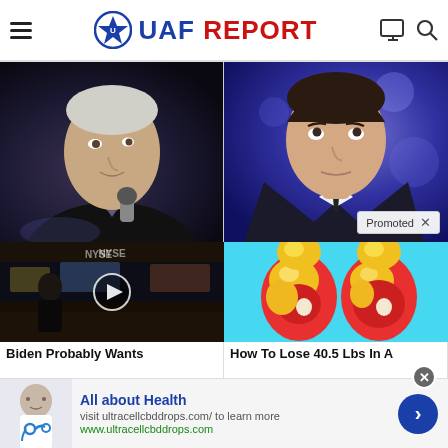UAF REPORT
[Figure (photo): Headshot of Joe Biden speaking at a dark-background event, side profile, wearing suit and tie]
[Figure (photo): Headshot of Ron DeSantis looking upward, wearing dark suit, blue/purple bokeh background. Promoted label visible in lower right.]
[Figure (screenshot): Video thumbnail showing a man in a dark suit in front of NYSE trading floor with a play button overlay]
Biden Probably Wants
[Figure (illustration): Medical illustration showing two leg cross-sections comparing fat/cholesterol buildup]
How To Lose 40.5 Lbs In A
All about Health
visit ultracellcbddrops.com/ to learn more
www.ultracellcbddrops.com